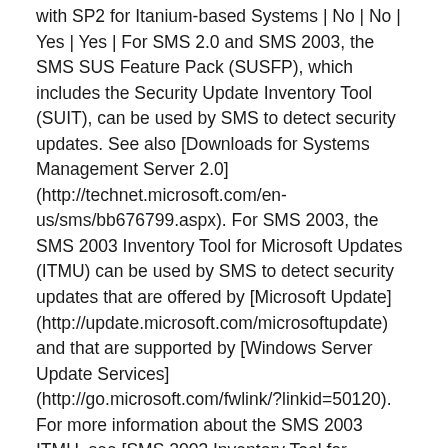with SP2 for Itanium-based Systems | No | No | Yes | Yes | For SMS 2.0 and SMS 2003, the SMS SUS Feature Pack (SUSFP), which includes the Security Update Inventory Tool (SUIT), can be used by SMS to detect security updates. See also [Downloads for Systems Management Server 2.0] (http://technet.microsoft.com/en-us/sms/bb676799.aspx). For SMS 2003, the SMS 2003 Inventory Tool for Microsoft Updates (ITMU) can be used by SMS to detect security updates that are offered by [Microsoft Update] (http://update.microsoft.com/microsoftupdate) and that are supported by [Windows Server Update Services] (http://go.microsoft.com/fwlink/?linkid=50120). For more information about the SMS 2003 ITMU, see [SMS 2003 Inventory Tool for Microsoft Updates] (http://technet.microsoft.com/en-us/sms/bb676783.aspx). SMS 2003 can also use the Microsoft Office Inventory Tool to detect required updates for Microsoft Office applications.